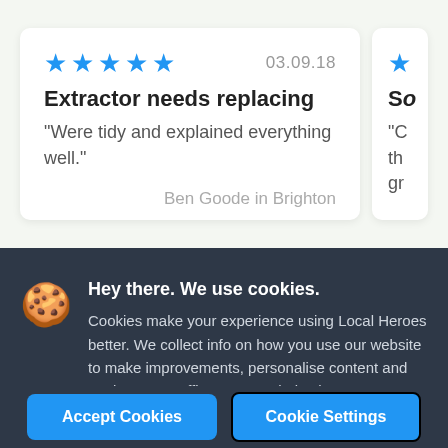[Figure (screenshot): Review card showing 5 blue stars, date 03.09.18, title 'Extractor needs replacing', quote 'Were tidy and explained everything well.' attributed to Ben Goode in Brighton. A partially visible second review card is cut off on the right.]
Hey there. We use cookies. Cookies make your experience using Local Heroes better. We collect info on how you use our website to make improvements, personalise content and analyse our traffic. It's your choice how we use your data, check out the cookie settings.
Accept Cookies
Cookie Settings